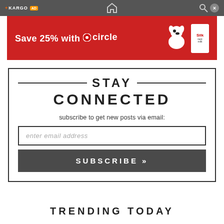+ KARGO AD
[Figure (other): Target Circle ad banner: red background with white dog mascot and Silk next milk carton. Text: Save 25% with Target circle]
STAY CONNECTED
subscribe to get new posts via email:
enter email address
SUBSCRIBE »
TRENDING TODAY